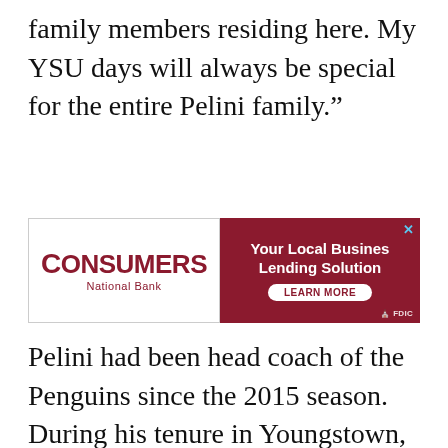family members residing here. My YSU days will always be special for the entire Pelini family.”
[Figure (other): Consumers National Bank advertisement: 'Your Local Business Lending Solution' with a Learn More button and FDIC badge]
Pelini had been head coach of the Penguins since the 2015 season. During his tenure in Youngstown, the team went 45-30 overall, including a run to the national title game in 2016 in his only postseason appearance with the team. That team produced two NFL draft picks in Derek Rivers (New England) and Avery Moss (New York Giants).